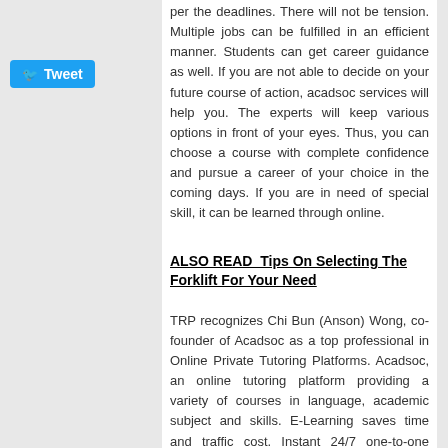per the deadlines. There will not be tension. Multiple jobs can be fulfilled in an efficient manner. Students can get career guidance as well. If you are not able to decide on your future course of action, acadsoc services will help you. The experts will keep various options in front of your eyes. Thus, you can choose a course with complete confidence and pursue a career of your choice in the coming days. If you are in need of special skill, it can be learned through online.
ALSO READ  Tips On Selecting The Forklift For Your Need
TRP recognizes Chi Bun (Anson) Wong, co-founder of Acadsoc as a top professional in Online Private Tutoring Platforms. Acadsoc, an online tutoring platform providing a variety of courses in language, academic subject and skills. E-Learning saves time and traffic cost. Instant 24/7 one-to-one class is designed for